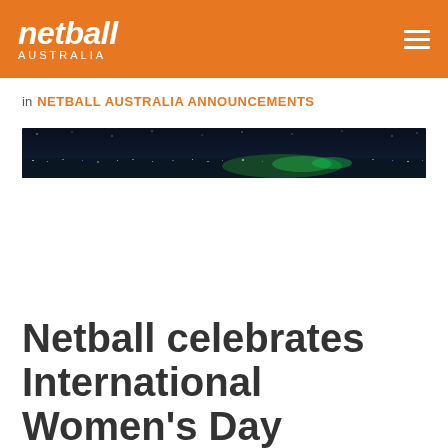netball AUSTRALIA
in NETBALL AUSTRALIA ANNOUNCEMENTS
[Figure (photo): Night panoramic cityscape photo used as hero banner image — dark skyline with green and teal lights visible against a dark sky]
Netball celebrates International Women's Day